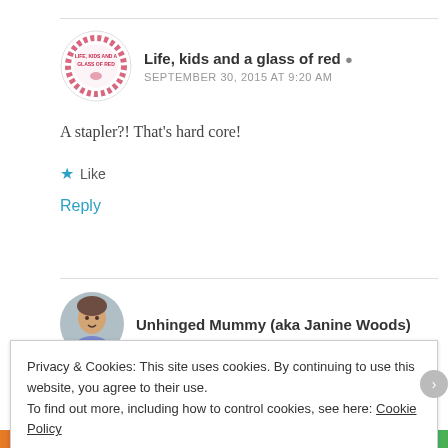[Figure (logo): Circular logo with red wine glass stain graphic and text 'Life, Kids and a Glass of Red']
Life, kids and a glass of red
SEPTEMBER 30, 2015 AT 9:20 AM
A stapler?! That's hard core!
★ Like
Reply
[Figure (photo): Circular avatar photo of a woman with brown hair]
Unhinged Mummy (aka Janine Woods)
Privacy & Cookies: This site uses cookies. By continuing to use this website, you agree to their use.
To find out more, including how to control cookies, see here: Cookie Policy
Close and accept